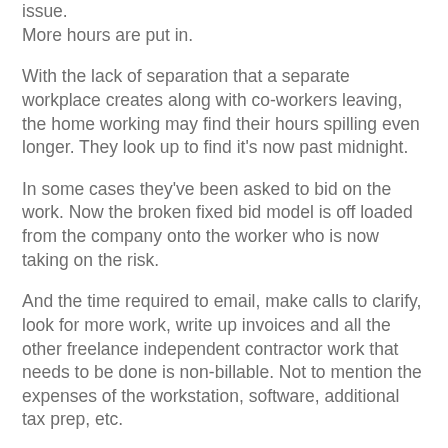issue.
More hours are put in.
With the lack of separation that a separate workplace creates along with co-workers leaving, the home working may find their hours spilling even longer. They look up to find it's now past midnight.
In some cases they've been asked to bid on the work. Now the broken fixed bid model is off loaded from the company onto the worker who is now taking on the risk.
And the time required to email, make calls to clarify, look for more work, write up invoices and all the other freelance independent contractor work that needs to be done is non-billable. Not to mention the expenses of the workstation, software, additional tax prep, etc.
And they will be unlikely to bill for overtime and are not covered by any labor laws.
And while some may find this all works well for them it's not